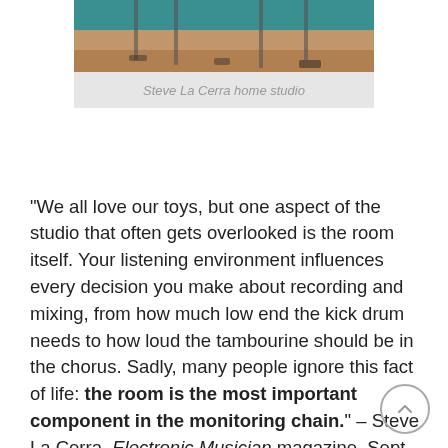[Figure (photo): Steve La Cerra home studio — partial view of studio room with teal walls, wooden floor, and equipment stands]
Steve La Cerra home studio
“We all love our toys, but one aspect of the studio that often gets overlooked is the room itself. Your listening environment influences every decision you make about recording and mixing, from how much low end the kick drum needs to how loud the tambourine should be in the chorus. Sadly, many people ignore this fact of life: the room is the most important component in the monitoring chain.” – Steve La Cerra, Electronic Musician magazine, Sept 2015